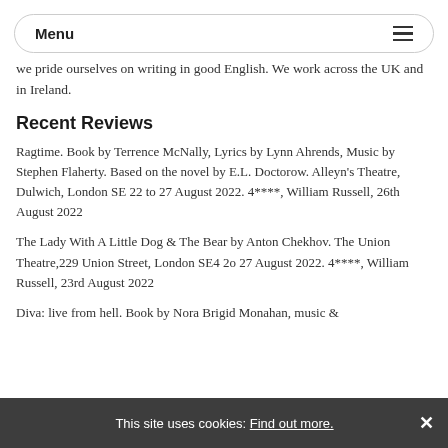Menu
we pride ourselves on writing in good English. We work across the UK and in Ireland.
Recent Reviews
Ragtime. Book by Terrence McNally, Lyrics by Lynn Ahrends, Music by Stephen Flaherty. Based on the novel by E.L. Doctorow. Alleyn's Theatre, Dulwich, London SE 22 to 27 August 2022. 4****, William Russell, 26th August 2022
The Lady With A Little Dog & The Bear by Anton Chekhov. The Union Theatre,229 Union Street, London SE4 2o 27 August 2022. 4****, William Russell, 23rd August 2022
Diva: live from hell. Book by Nora Brigid Monahan, music &
This site uses cookies: Find out more. ×